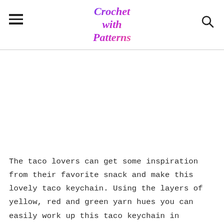Crochet with Patterns
The taco lovers can get some inspiration from their favorite snack and make this lovely taco keychain. Using the layers of yellow, red and green yarn hues you can easily work up this taco keychain in minutes. You can make a bunch of them use as the perfect gifts for your dear ones too. Details here!